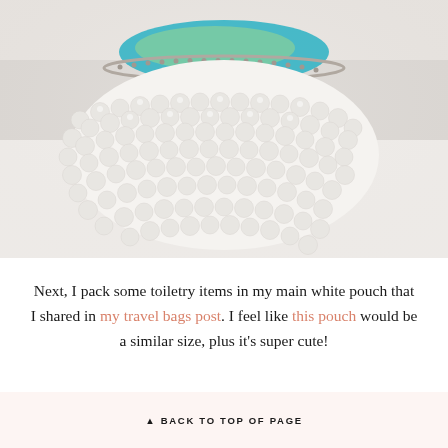[Figure (photo): Close-up photo of an open white beaded/pom-pom zipper pouch against a white/light grey background, with teal and green items visible inside the pouch.]
Next, I pack some toiletry items in my main white pouch that I shared in my travel bags post. I feel like this pouch would be a similar size, plus it's super cute!
▲ BACK TO TOP OF PAGE